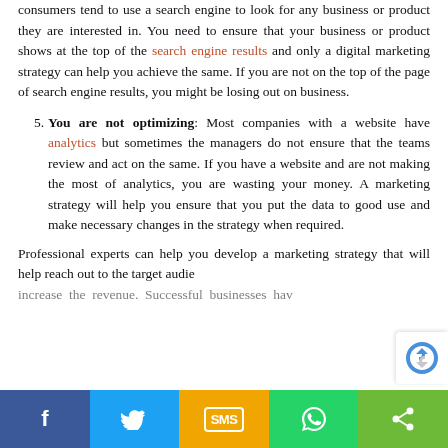consumers tend to use a search engine to look for any business or product they are interested in. You need to ensure that your business or product shows at the top of the search engine results and only a digital marketing strategy can help you achieve the same. If you are not on the top of the page of search engine results, you might be losing out on business.
You are not optimizing: Most companies with a website have analytics but sometimes the managers do not ensure that the teams review and act on the same. If you have a website and are not making the most of analytics, you are wasting your money. A marketing strategy will help you ensure that you put the data to good use and make necessary changes in the strategy when required.
Professional experts can help you develop a marketing strategy that will help reach out to the target audience and increase the revenue. Successful businesses hav...